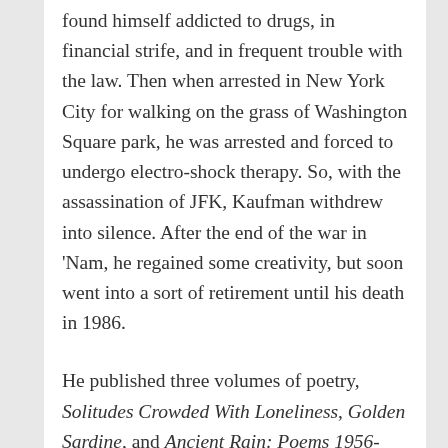found himself addicted to drugs, in financial strife, and in frequent trouble with the law. Then when arrested in New York City for walking on the grass of Washington Square park, he was arrested and forced to undergo electro-shock therapy. So, with the assassination of JFK, Kaufman withdrew into silence. After the end of the war in 'Nam, he regained some creativity, but soon went into a sort of retirement until his death in 1986.
He published three volumes of poetry, Solitudes Crowded With Loneliness, Golden Sardine, and Ancient Rain: Poems 1956-1978. He published Golden Sardines, as well as a number of chapbooks in the mid-sixties, through City Lights. He also founded Beatitude and a variety